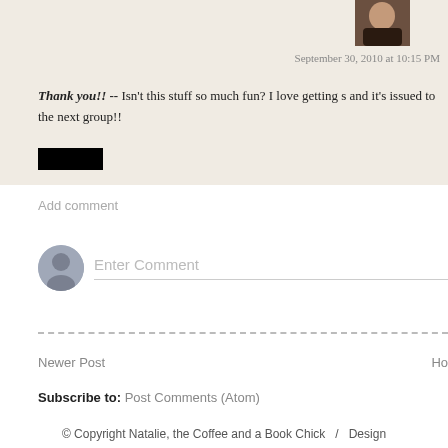September 30, 2010 at 10:15 PM
Thank you!! -- Isn't this stuff so much fun? I love getting and it's issued to the next group!!
Add comment
Enter Comment
Newer Post
Ho
Subscribe to: Post Comments (Atom)
© Copyright Natalie, the Coffee and a Book Chick   /   Design